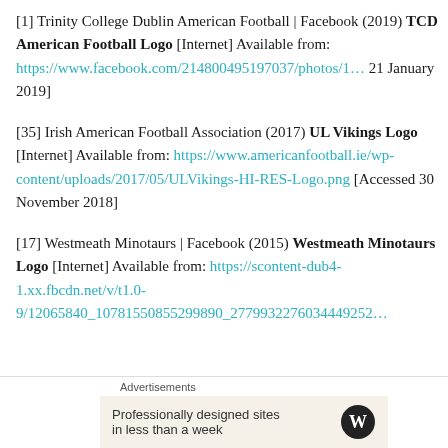[1] Trinity College Dublin American Football | Facebook (2019) TCD American Football Logo [Internet] Available from: https://www.facebook.com/214800495197037/photos/1... 21 January 2019]
[35] Irish American Football Association (2017) UL Vikings Logo [Internet] Available from: https://www.americanfootball.ie/wp-content/uploads/2017/05/ULVikings-HI-RES-Logo.png [Accessed 30 November 2018]
[17] Westmeath Minotaurs | Facebook (2015) Westmeath Minotaurs Logo [Internet] Available from: https://scontent-dub4-1.xx.fbcdn.net/v/t1.0-9/12065840_10781550855299890_2779932276034449252...